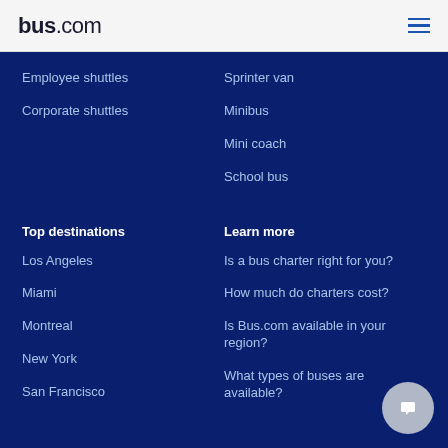bus.com
Employee shuttles
Corporate shuttles
Sprinter van
Minibus
Mini coach
School bus
Top destinations
Learn more
Los Angeles
Miami
Montreal
New York
San Francisco
Is a bus charter right for you?
How much do charters cost?
Is Bus.com available in your region?
What types of buses are available?